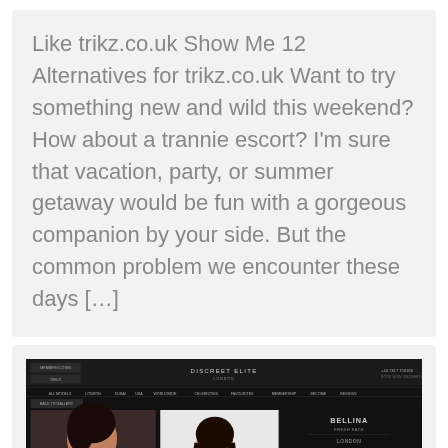Like trikz.co.uk Show Me 12 Alternatives for trikz.co.uk Want to try something new and wild this weekend? How about a trannie escort? I'm sure that vacation, party, or summer getaway would be fun with a gorgeous companion by your side. But the common problem we encounter these days […]
[Figure (screenshot): Screenshot of the Discreet Elite London website showing a dark-themed escort agency page with navigation bar, two model photos in red swimwear, and a profile sidebar for 'BELLINA' with contact and booking options.]
Discreet Elite & 12 Must-Visit